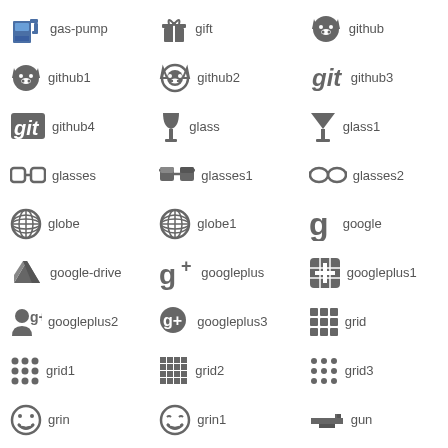[Figure (illustration): Icon grid showing font icons with names: gas-pump, gift, github, github1, github2, github3, github4, glass, glass1, glasses, glasses1, glasses2, globe, globe1, google, google-drive, googleplus, googleplus1, googleplus2, googleplus3, grid, grid1, grid2, grid3, grin, grin1, gun]